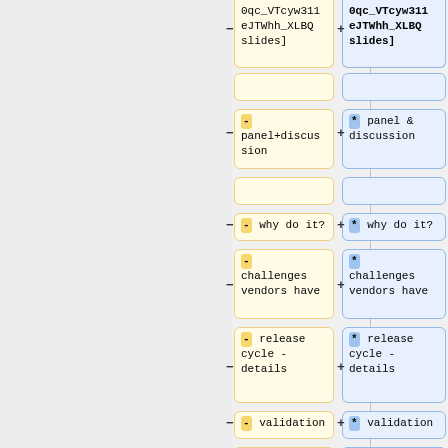[Figure (screenshot): A diff/comparison view showing two columns of cards. Left column contains yellow-bordered cards with '-' markers and text: a partial card with URL fragment text, empty card, 'panel+discussion', empty, '- why do it?', '- challenges vendors have', '- release cycle - details', '- validation'. Right column has blue-bordered cards with '+' markers and '*' badges with parallel text: URL fragment 'eJTWhh_XLBQ slides]', empty, 'panel & discussion', empty, '* why do it?', '* challenges vendors have', '* release cycle - details', '* validation'.]